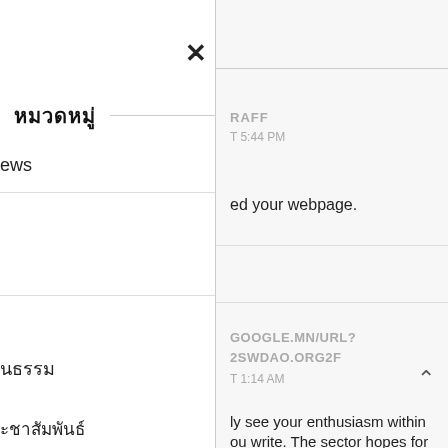×
หมวดหมู่
ews
นธรรม
ะชาสัมพันธ์
RAFF
T 5:44 PM
ed your webpage.
GOOGLE.MN/URL? 2SWDAO.ORG2F
T 1:14 AM
ly see your enthusiasm within ou write. The sector hopes for